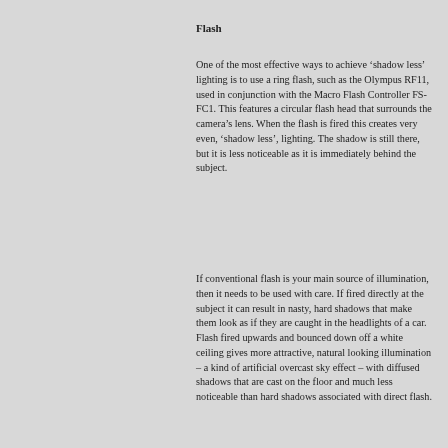Flash
One of the most effective ways to achieve ‘shadow less’ lighting is to use a ring flash, such as the Olympus RF11, used in conjunction with the Macro Flash Controller FS-FC1. This features a circular flash head that surrounds the camera’s lens. When the flash is fired this creates very even, ‘shadow less’, lighting. The shadow is still there, but it is less noticeable as it is immediately behind the subject.
If conventional flash is your main source of illumination, then it needs to be used with care. If fired directly at the subject it can result in nasty, hard shadows that make them look as if they are caught in the headlights of a car. Flash fired upwards and bounced down off a white ceiling gives more attractive, natural looking illumination – a kind of artificial overcast sky effect – with diffused shadows that are cast on the floor and much less noticeable than hard shadows associated with direct flash.